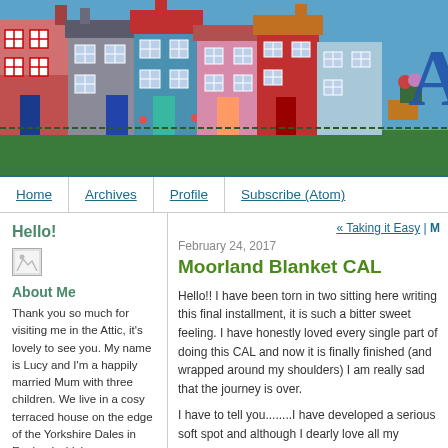[Figure (illustration): Colorful banner showing a row of illustrated terraced houses in red, grey, blue, pink, red, teal colors on a blue sky background. A large letter 'A' is visible on the right side.]
Home | Archives | Profile | Subscribe (Atom)
Hello!
[Figure (photo): Small broken/placeholder image icon]
About Me
Thank you so much for visiting me in the Attic, it's lovely to see you. My name is Lucy and I'm a happily married Mum with three children. We live in a cosy terraced house on the edge of the Yorkshire Dales in England which we are slowly renovating and making home. I have a passion for crochet and colour and love to share my creative journey. I hope you enjoy your
« Taking it Easy | M
February 24, 2017
Moorland Blanket CAL
Hello!! I have been torn in two sitting here writing this final installment, it is such a bitter sweet feeling. I have honestly loved every single part of doing this CAL and now it is finally finished (and wrapped around my shoulders) I am really sad that the journey is over.
I have to tell you........I have developed a serious soft spot and although I dearly love all my blankets, this one has stolen my heart. Thank goodness I don't have to choose or I couldn't smooch with it every single day.
But here comes more of the exciting news....